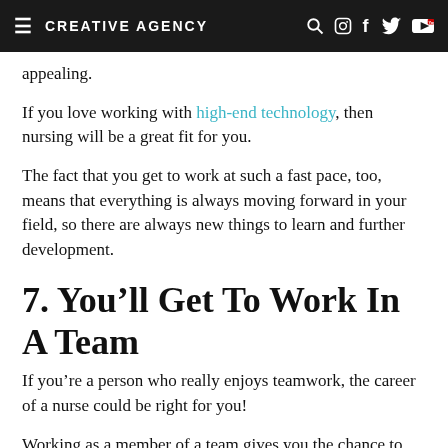CREATIVE AGENCY
appealing.
If you love working with high-end technology, then nursing will be a great fit for you.
The fact that you get to work at such a fast pace, too, means that everything is always moving forward in your field, so there are always new things to learn and further development.
7. You'll Get To Work In A Team
If you're a person who really enjoys teamwork, the career of a nurse could be right for you!
Working as a member of a team gives you the chance to learn from other members, tap into their expertise, and feel like you're a part of something special.
As a nurse, you'll also be at the forefront of the...